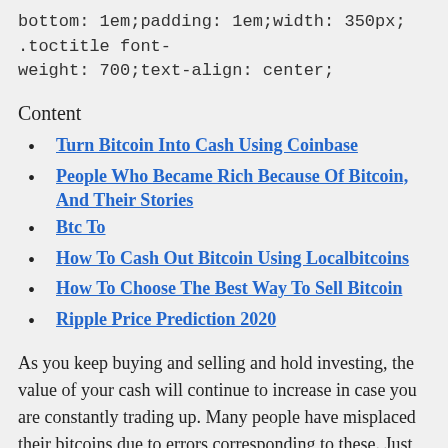bottom: 1em;padding: 1em;width: 350px; .toctitle font-weight: 700;text-align: center;
Content
Turn Bitcoin Into Cash Using Coinbase
People Who Became Rich Because Of Bitcoin, And Their Stories
Btc To
How To Cash Out Bitcoin Using Localbitcoins
How To Choose The Best Way To Sell Bitcoin
Ripple Price Prediction 2020
As you keep buying and selling and hold investing, the value of your cash will continue to increase in case you are constantly trading up. Many people have misplaced their bitcoins due to errors corresponding to these. Just like that, your funds could selling bitcoins for usd be gone in one